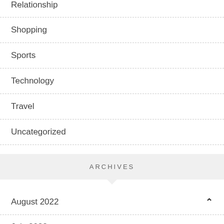Relationship
Shopping
Sports
Technology
Travel
Uncategorized
ARCHIVES
August 2022
July 2022